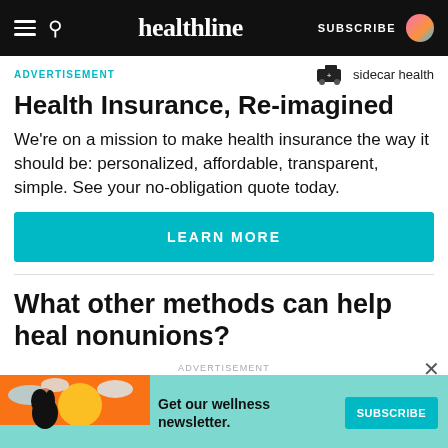healthline — SUBSCRIBE
ADVERTISEMENT
[Figure (logo): Sidecar Health logo with ambulance icon]
Health Insurance, Re-imagined
We're on a mission to make health insurance the way it should be: personalized, affordable, transparent, simple. See your no-obligation quote today.
LEARN MORE
What other methods can help heal nonunions?
ADVERTISEMENT
[Figure (illustration): Advertisement banner: woman with dark hair, orange/teal background with clouds. Text: Get our wellness newsletter. SUBSCRIBE button.]